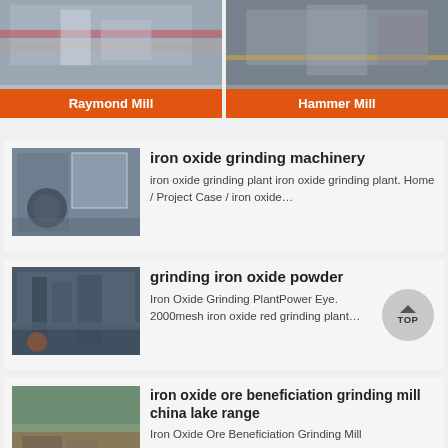[Figure (photo): Raymond Mill product card with orange label]
[Figure (photo): Hammer Mill product card with orange label]
[Figure (photo): Iron oxide grinding machinery industrial photo]
iron oxide grinding machinery
iron oxide grinding plant iron oxide grinding plant. Home / Project Case / iron oxide…
[Figure (photo): Grinding iron oxide powder industrial plant photo]
grinding iron oxide powder
Iron Oxide Grinding PlantPower Eye. 2000mesh iron oxide red grinding plant…
[Figure (photo): Iron oxide ore beneficiation grinding mill china lake range landscape photo]
iron oxide ore beneficiation grinding mill china lake range
Iron Oxide Ore Beneficiation Grinding Mill